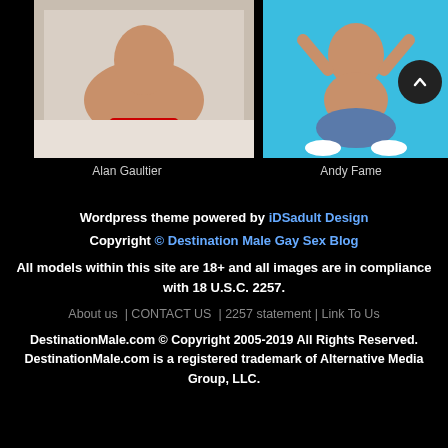[Figure (photo): Photo of Alan Gaultier, a male model lying on a white couch wearing red shorts]
[Figure (photo): Photo of Andy Fame, a male model seated cross-legged on a blue background flexing]
Alan Gaultier
Andy Fame
Wordpress theme powered by iDSadult Design
Copyright © Destination Male Gay Sex Blog
All models within this site are 18+ and all images are in compliance with 18 U.S.C. 2257.
About us  | CONTACT US  | 2257 statement | Link To Us
DestinationMale.com © Copyright 2005-2019 All Rights Reserved. DestinationMale.com is a registered trademark of Alternative Media Group, LLC.